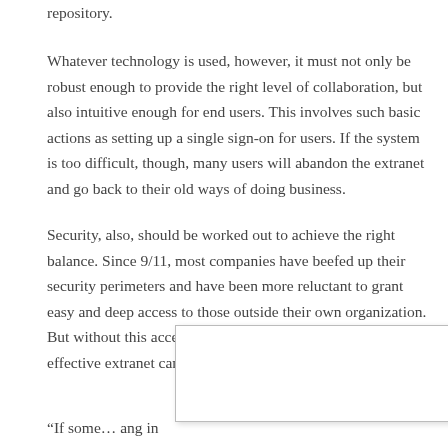repository.
Whatever technology is used, however, it must not only be robust enough to provide the right level of collaboration, but also intuitive enough for end users. This involves such basic actions as setting up a single sign-on for users. If the system is too difficult, though, many users will abandon the extranet and go back to their old ways of doing business.
Security, also, should be worked out to achieve the right balance. Since 9/11, most companies have beefed up their security perimeters and have been more reluctant to grant easy and deep access to those outside their own organization. But without this access the process of establishing an effective extranet can fail.
“If some… ang in